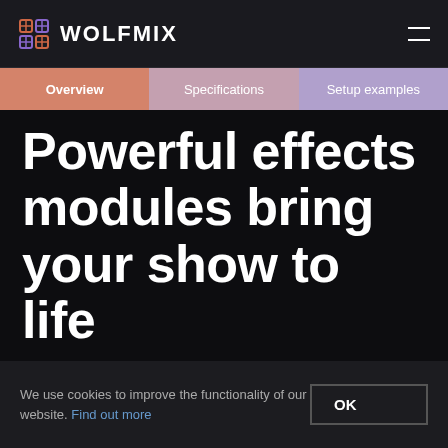WOLFMIX
Overview | Specifications | Setup examples
Powerful effects modules bring your show to life
We use cookies to improve the functionality of our website. Find out more